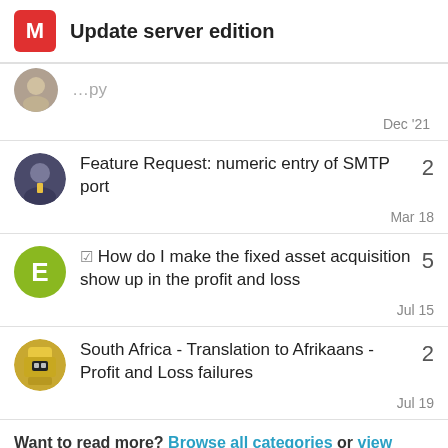Update server edition
(partial/clipped topic title)
Dec '21
Feature Request: numeric entry of SMTP port — 2 replies — Mar 18
☑ How do I make the fixed asset acquisition show up in the profit and loss — 5 replies — Jul 15
South Africa - Translation to Afrikaans - Profit and Loss failures — 2 replies — Jul 19
Want to read more? Browse all categories or view latest topics.